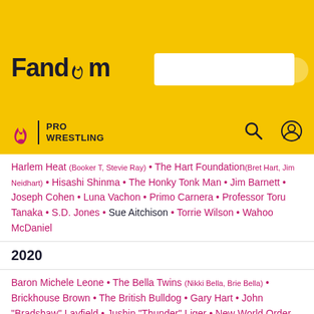[Figure (logo): Fandom website logo with yellow background and search bar]
PRO WRESTLING
Harlem Heat (Booker T, Stevie Ray) • The Hart Foundation (Bret Hart, Jim Neidhart) • Hisashi Shinma • The Honky Tonk Man • Jim Barnett • Joseph Cohen • Luna Vachon • Primo Carnera • Professor Toru Tanaka • S.D. Jones • Sue Aitchison • Torrie Wilson • Wahoo McDaniel
2020
Baron Michele Leone • The Bella Twins (Nikki Bella, Brie Bella) • Brickhouse Brown • The British Bulldog • Gary Hart • John "Bradshaw" Layfield • Jushin "Thunder" Liger • New World Order ("Hollywood" Hulk Hogan, Kevin Nash, Scott Hall, Sean Waltman) • Ray Stevens • Steve Williams • Titus O'Neil • William Shatner
2021